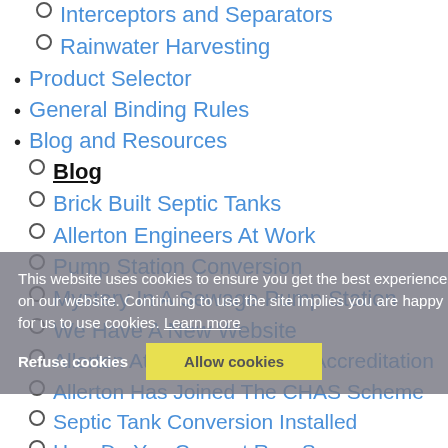Interceptors and Separators
Rainwater Harvesting
Product Selector
General Binding Rules
Blog and Resources
Blog
Brick Built Septic Tanks
Allerton Engineers At Work
Pump Station Conversion
Mystery In A Sewage Pump Station
We Have A New Website
Allerton Attain British Water Accreditation
Allerton Has Joined The CHAS Scheme
Septic Tank Conversion Installed
How Do You Convert Raw Sewage
This website uses cookies to ensure you get the best experience on our website. Continuing to use the site implies you are happy for us to use cookies. Learn more
Refuse cookies | Allow cookies